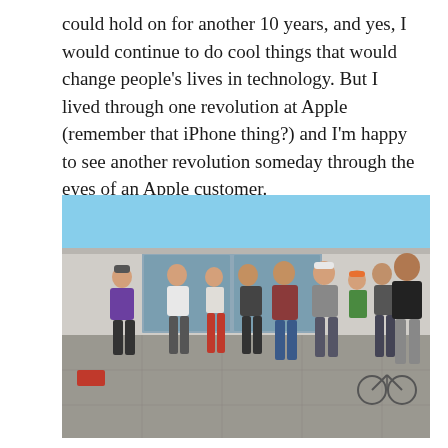could hold on for another 10 years, and yes, I would continue to do cool things that would change people's lives in technology. But I lived through one revolution at Apple (remember that iPhone thing?) and I'm happy to see another revolution someday through the eyes of an Apple customer.
[Figure (photo): A group of approximately 10 people standing outdoors in front of a modern glass building on a sunny day. One person on the left wears a purple shirt and cap, others in casual attire. A person on the right in a black shirt faces the group, appearing to speak. Several people wear sunglasses and caps.]